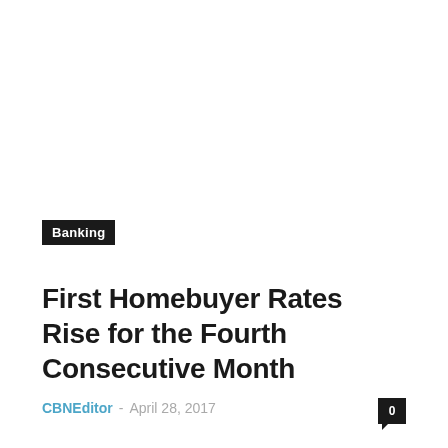Banking
First Homebuyer Rates Rise for the Fourth Consecutive Month
CBNEditor – April 28, 2017